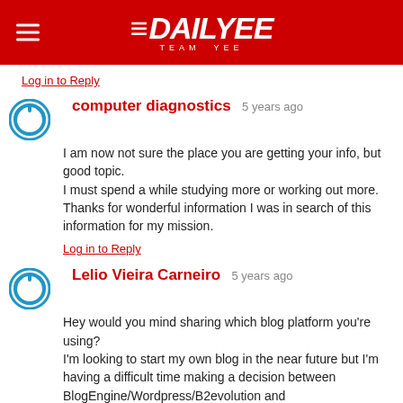DAILYEE TEAM YEE
Log in to Reply
computer diagnostics  5 years ago
I am now not sure the place you are getting your info, but good topic.
I must spend a while studying more or working out more. Thanks for wonderful information I was in search of this information for my mission.
Log in to Reply
Lelio Vieira Carneiro  5 years ago
Hey would you mind sharing which blog platform you're using?
I'm looking to start my own blog in the near future but I'm having a difficult time making a decision between BlogEngine/Wordpress/B2evolution and